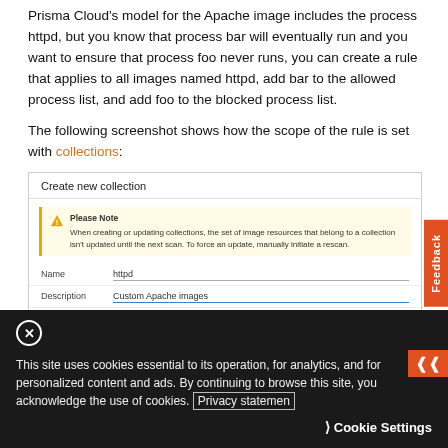Prisma Cloud's model for the Apache image includes the process httpd, but you know that process bar will eventually run and you want to ensure that process foo never runs, you can create a rule that applies to all images named httpd, add bar to the allowed process list, and add foo to the blocked process list.
The following screenshot shows how the scope of the rule is set with collections:
[Figure (screenshot): Screenshot of a 'Create new collection' form with a Please Note warning box, and form fields for Name (httpd), Description (Custom Apache images), and Color (green).]
This site uses cookies essential to its operation, for analytics, and for personalized content and ads. By continuing to browse this site, you acknowledge the use of cookies. Privacy statement
Cookie Settings